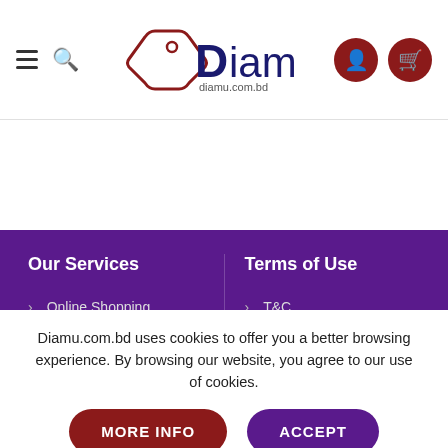[Figure (logo): Diamu.com.bd logo with tag icon and dark red/navy text]
Our Services
Online Shopping
Merchandising
Bostro by Diamu
Terms of Use
T&C
Privacy Policy
Return Policy
Diamu.com.bd uses cookies to offer you a better browsing experience. By browsing our website, you agree to our use of cookies.
MORE INFO
ACCEPT